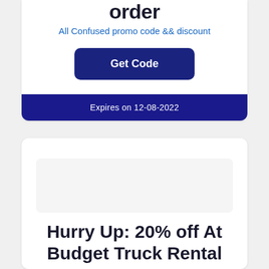order
All Confused promo code && discount
Get Code
Expires on 12-08-2022
[Figure (illustration): White placeholder area for a promotional image]
Hurry Up: 20% off At Budget Truck Rental
All Budget Truck Rental promo code && discount